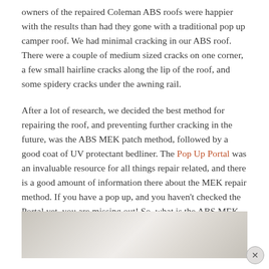owners of the repaired Coleman ABS roofs were happier with the results than had they gone with a traditional pop up camper roof.  We had minimal cracking in our ABS roof.  There were a couple of medium sized cracks on one corner, a few small hairline cracks along the lip of the roof, and some spidery cracks under the awning rail.
After a lot of research, we decided the best method for repairing the roof, and preventing further cracking in the future, was the ABS MEK patch method, followed by a good coat of UV protectant bedliner.  The Pop Up Portal was an invaluable resource for all things repair related, and there is a good amount of information there about the MEK repair method.  If you have a pop up, and you haven't checked the Portal yet, you are missing out!  So, what is the ABS MEK patch method?
[Figure (photo): Partial view of a cracked ABS roof surface, light gray/white color]